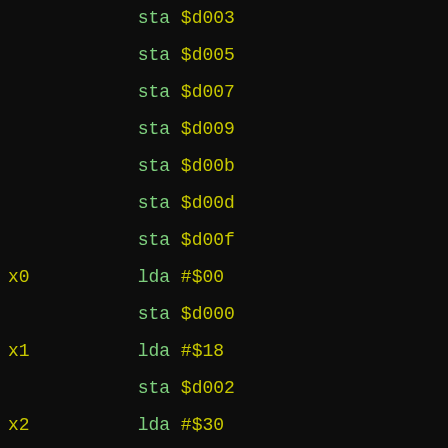sta $d003
    sta $d005
    sta $d007
    sta $d009
    sta $d00b
    sta $d00d
    sta $d00f
x0  lda #$00
    sta $d000
x1  lda #$18
    sta $d002
x2  lda #$30
    sta $d004
x3  lda #$48
    sta $d006
x4  lda #$60
    sta $d008
x5  lda #$78
    sta $d00a
x6  lda #$90
    sta $d00c